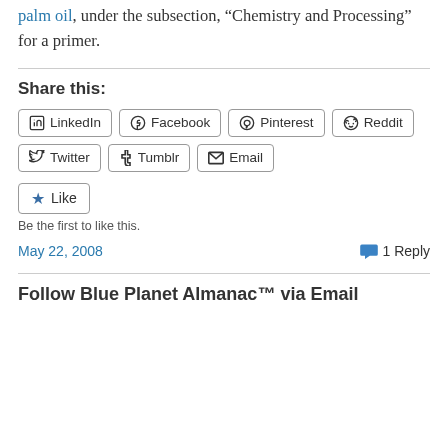palm oil, under the subsection, “Chemistry and Processing” for a primer.
Share this:
LinkedIn  Facebook  Pinterest  Reddit  Twitter  Tumblr  Email
★ Like
Be the first to like this.
May 22, 2008   1 Reply
Follow Blue Planet Almanac™ via Email